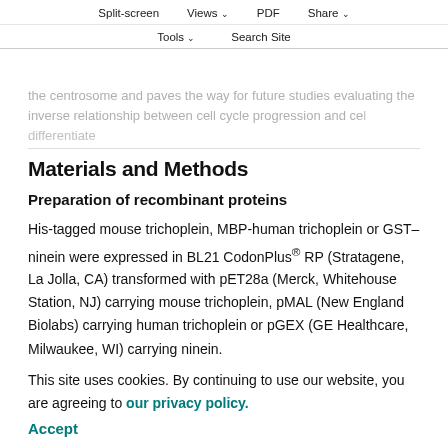Split-screen   Views   PDF   Share
Tools   Search Site
the centrosome and paves the way for future studies evaluating the inverse relationship between cell cycle progression and cell differentiate
Materials and Methods
Preparation of recombinant proteins
His-tagged mouse trichoplein, MBP-human trichoplein or GST–ninein were expressed in BL21 CodonPlus® RP (Stratagene, La Jolla, CA) transformed with pET28a (Merck, Whitehouse Station, NJ) carrying mouse trichoplein, pMAL (New England Biolabs) carrying human trichoplein or pGEX (GE Healthcare, Milwaukee, WI) carrying ninein.
This site uses cookies. By continuing to use our website, you are agreeing to our privacy policy.
Accept